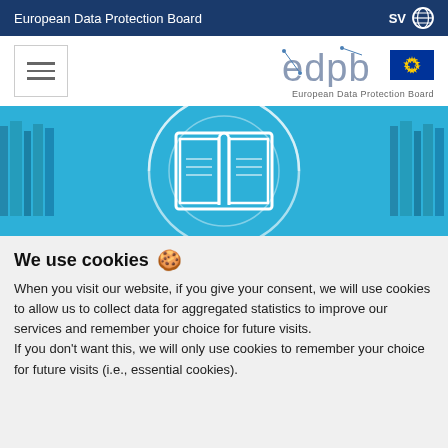European Data Protection Board | SV
[Figure (logo): EDPB logo with EU flag and text 'European Data Protection Board']
[Figure (illustration): Blue banner with open book icon and circular design, representing digital library or knowledge resources]
We use cookies 🍪
When you visit our website, if you give your consent, we will use cookies to allow us to collect data for aggregated statistics to improve our services and remember your choice for future visits.
If you don't want this, we will only use cookies to remember your choice for future visits (i.e., essential cookies).